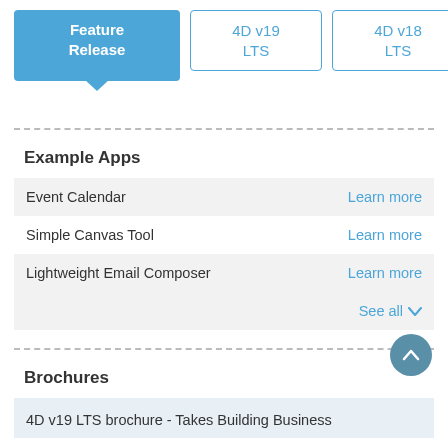[Figure (screenshot): Navigation tab bar with three buttons: 'Feature Release' (active, blue filled), '4D v19 LTS' (outlined), '4D v18 LTS' (outlined), and 'Browse on Github' link on right]
Browse on Github
Example Apps
Event Calendar — Learn more
Simple Canvas Tool — Learn more
Lightweight Email Composer — Learn more
See all
Brochures
4D v19 LTS brochure - Takes Building Business